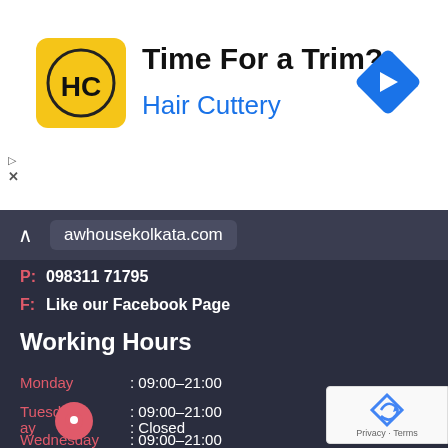[Figure (screenshot): Hair Cuttery advertisement banner with yellow HC logo and blue navigation arrow icon. Text reads 'Time For a Trim?' and 'Hair Cuttery']
awhousekolkata.com
P: 098311 71795
F: Like our Facebook Page
Working Hours
Monday : 09:00–21:00
Tuesday : 09:00–21:00
Wednesday : 09:00–21:00
Thursday : 09:00–21:00
Friday : 09:00–21:00
Saturday : 09:00–21:00
Sunday : Closed